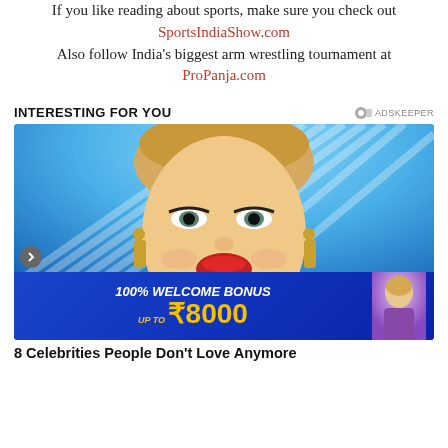If you like reading about sports, make sure you check out SportsIndiaShow.com
Also follow India's biggest arm wrestling tournament at ProPanja.com
INTERESTING FOR YOU
[Figure (photo): Photo of a blonde female celebrity smiling with short pixie hair, dramatic eye makeup, red lipstick, gold earrings, blue background with radial light pattern. An ad banner overlays the bottom: 100% WELCOME BONUS UP TO ₹8000]
8 Celebrities People Don't Love Anymore